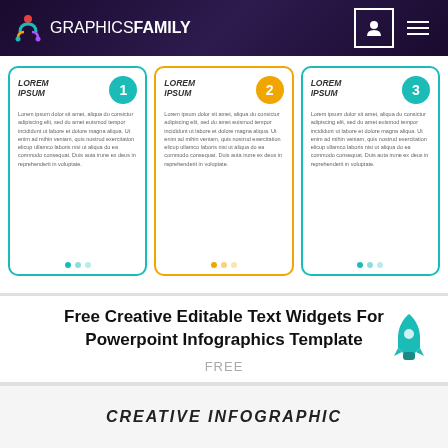GRAPHICSFAMILY
[Figure (infographic): Three numbered info cards with Lorem Ipsum placeholder text. Card 1 (teal border, teal circle with '1'), Card 2 (orange border, orange circle with '2'), Card 3 (teal border, teal circle with '3'). Each card has 'LOREM IPSUM' title and placeholder body text.]
Free Creative Editable Text Widgets For Powerpoint Infographics Template
FREE
CREATIVE INFOGRAPHIC